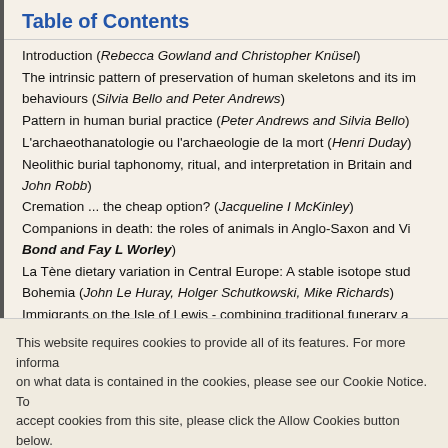Table of Contents
Introduction (Rebecca Gowland and Christopher Knüsel)
The intrinsic pattern of preservation of human skeletons and its implications for the study of funerary behaviours (Silvia Bello and Peter Andrews)
Pattern in human burial practice (Peter Andrews and Silvia Bello)
L'archaeothanatologie ou l'archaeologie de la mort (Henri Duday)
Neolithic burial taphonomy, ritual, and interpretation in Britain and Continental Europe (John Robb)
Cremation ... the cheap option? (Jacqueline I McKinley)
Companions in death: the roles of animals in Anglo-Saxon and Viking funerary practices (Julian D Bond and Fay L Worley)
La Tène dietary variation in Central Europe: A stable isotope study of Late Iron Age Bohemia (John Le Huray, Holger Schutkowski, Mike Richards)
Immigrants on the Isle of Lewis - combining traditional funerary and modern isotope evidence to investigate social differentiation, migration and dietary change in the Outer Hebrides (Janet Montgomery and Jane A Evans)
Ageing the past: examining age identity from funerary evidence (R...
This website requires cookies to provide all of its features. For more information on what data is contained in the cookies, please see our Cookie Notice. To accept cookies from this site, please click the Allow Cookies button below.
Allow Cookies